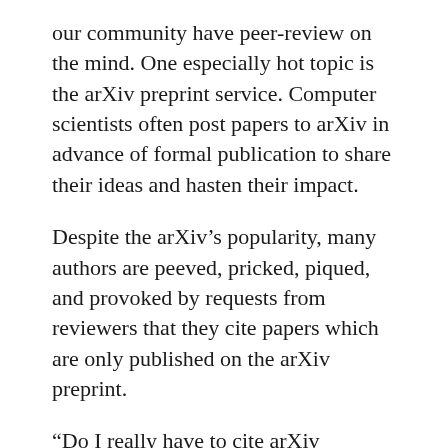our community have peer-review on the mind. One especially hot topic is the arXiv preprint service. Computer scientists often post papers to arXiv in advance of formal publication to share their ideas and hasten their impact.
Despite the arXiv’s popularity, many authors are peeved, pricked, piqued, and provoked by requests from reviewers that they cite papers which are only published on the arXiv preprint.
“Do I really have to cite arXiv papers?”, they whine.
“Come on, they’re not even published!,” they exclaim.